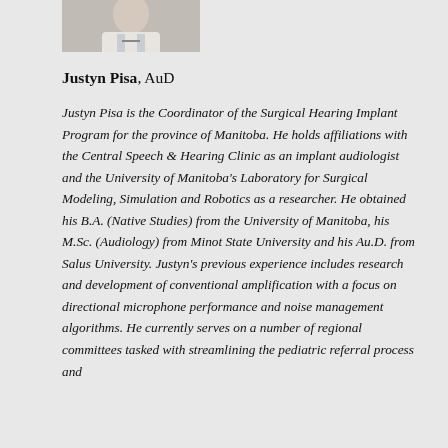[Figure (photo): Partial photo of a person (Justyn Pisa), cropped at top showing lower face/neck area with white shirt and tie]
Justyn Pisa, AuD
Justyn Pisa is the Coordinator of the Surgical Hearing Implant Program for the province of Manitoba. He holds affiliations with the Central Speech & Hearing Clinic as an implant audiologist and the University of Manitoba's Laboratory for Surgical Modeling, Simulation and Robotics as a researcher. He obtained his B.A. (Native Studies) from the University of Manitoba, his M.Sc. (Audiology) from Minot State University and his Au.D. from Salus University. Justyn's previous experience includes research and development of conventional amplification with a focus on directional microphone performance and noise management algorithms. He currently serves on a number of regional committees tasked with streamlining the pediatric referral process and